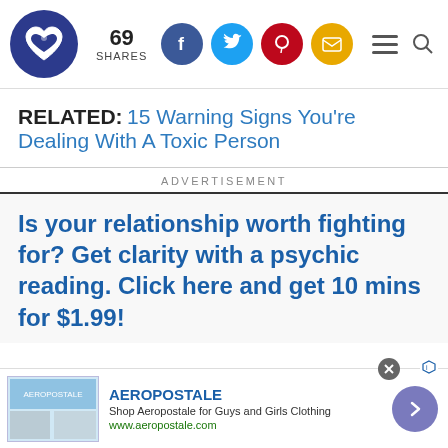69 SHARES
RELATED: 15 Warning Signs You're Dealing With A Toxic Person
ADVERTISEMENT
Is your relationship worth fighting for? Get clarity with a psychic reading. Click here and get 10 mins for $1.99!
AEROPOSTALE
Shop Aeropostale for Guys and Girls Clothing
www.aeropostale.com